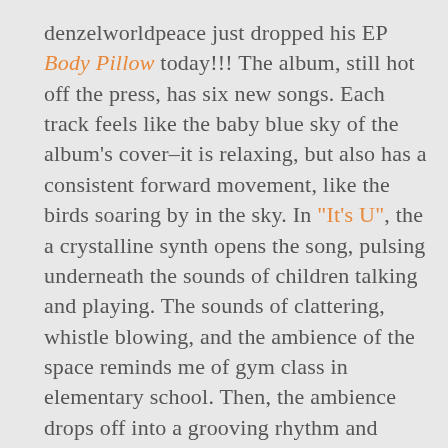denzelworldpeace just dropped his EP Body Pillow today!!! The album, still hot off the press, has six new songs. Each track feels like the baby blue sky of the album's cover–it is relaxing, but also has a consistent forward movement, like the birds soaring by in the sky. In "It's U", the a crystalline synth opens the song, pulsing underneath the sounds of children talking and playing. The sounds of clattering, whistle blowing, and the ambience of the space reminds me of gym class in elementary school. Then, the ambience drops off into a grooving rhythm and synth flutes. I feel like I've entered into a world made of of lush trees and rushing water. The drum beat drives me forward and makes me feel like I am a protagonist in a video game, just starting my